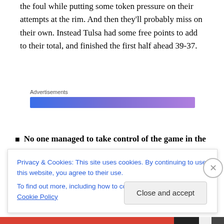the foul while putting some token pressure on their attempts at the rim. And then they'll probably miss on their own. Instead Tulsa had some free points to add to their total, and finished the first half ahead 39-37.
[Figure (other): Advertisements banner with gradient blue-to-purple bar]
No one managed to take control of the game in the
Privacy & Cookies: This site uses cookies. By continuing to use this website, you agree to their use.
To find out more, including how to control cookies, see here: Cookie Policy